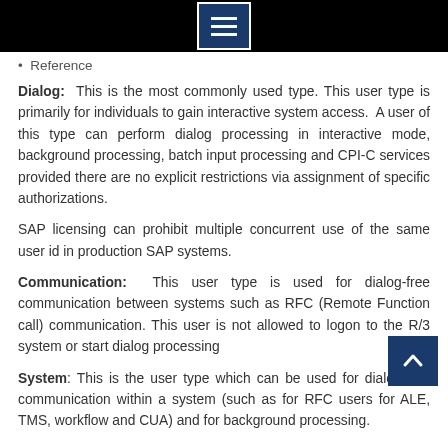Menu
• Reference
Dialog: This is the most commonly used type. This user type is primarily for individuals to gain interactive system access. A user of this type can perform dialog processing in interactive mode, background processing, batch input processing and CPI-C services provided there are no explicit restrictions via assignment of specific authorizations.
SAP licensing can prohibit multiple concurrent use of the same user id in production SAP systems.
Communication: This user type is used for dialog-free communication between systems such as RFC (Remote Function call) communication. This user is not allowed to logon to the R/3 system or start dialog processing
System: This is the user type which can be used for dialog-free communication within a system (such as for RFC users for ALE, TMS, workflow and CUA) and for background processing.